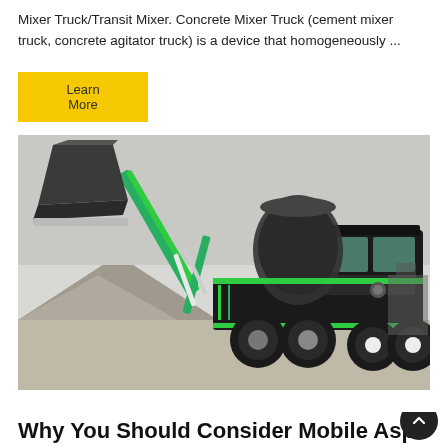Mixer Truck/Transit Mixer. Concrete Mixer Truck (cement mixer truck, concrete agitator truck) is a device that homogeneously ...
[Figure (photo): A green and black self-loading concrete mixer truck photographed outdoors at a construction site with gravel piles in the background. The truck features a large loading bucket raised at the front, a mixing drum, and heavy-duty wheels.]
Why You Should Consider Mobile Asph